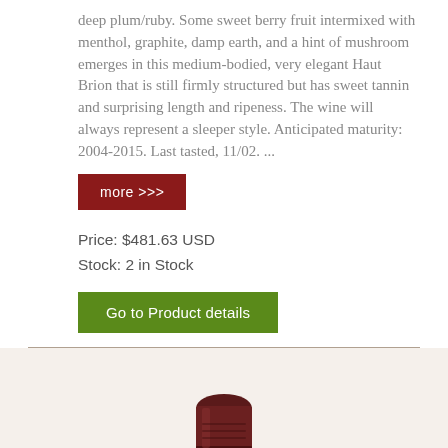deep plum/ruby. Some sweet berry fruit intermixed with menthol, graphite, damp earth, and a hint of mushroom emerges in this medium-bodied, very elegant Haut Brion that is still firmly structured but has sweet tannin and surprising length and ripeness. The wine will always represent a sleeper style. Anticipated maturity: 2004-2015. Last tasted, 11/02. ...
more >>>
Price: $481.63 USD
Stock: 2 in Stock
Go to Product details
[Figure (photo): Top of a wine bottle with a dark maroon/burgundy foil capsule and green glass neck, photographed against a light beige background.]